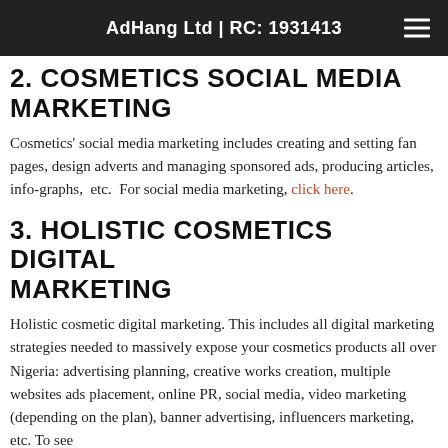AdHang Ltd | RC: 1931413
2. COSMETICS SOCIAL MEDIA MARKETING
Cosmetics' social media marketing includes creating and setting fan pages, design adverts and managing sponsored ads, producing articles, info-graphs,  etc.  For social media marketing, click here.
3. HOLISTIC COSMETICS DIGITAL MARKETING
Holistic cosmetic digital marketing. This includes all digital marketing strategies needed to massively expose your cosmetics products all over Nigeria: advertising planning, creative works creation, multiple websites ads placement, online PR, social media, video marketing (depending on the plan), banner advertising, influencers marketing, etc. To see